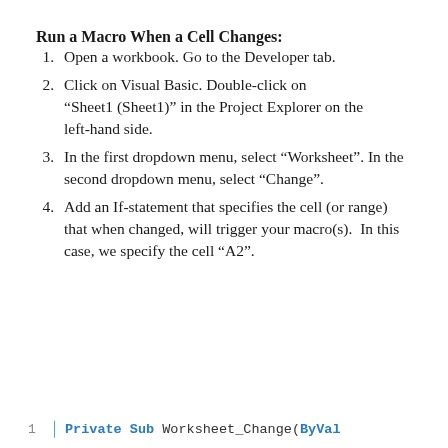Run a Macro When a Cell Changes:
Open a workbook. Go to the Developer tab.
Click on Visual Basic. Double-click on “Sheet1 (Sheet1)” in the Project Explorer on the left-hand side.
In the first dropdown menu, select “Worksheet”. In the second dropdown menu, select “Change”.
Add an If-statement that specifies the cell (or range) that when changed, will trigger your macro(s).  In this case, we specify the cell “A2”.
[Figure (screenshot): Code snippet showing line 1 with 'Private Sub Worksheet_Change(ByVal' in blue/teal syntax-highlighted monospace font with a blue vertical bar and line number.]